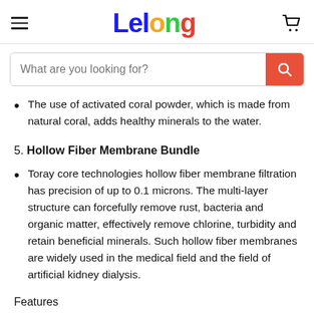Lelong
The use of activated coral powder, which is made from natural coral, adds healthy minerals to the water.
5. Hollow Fiber Membrane Bundle
Toray core technologies hollow fiber membrane filtration has precision of up to 0.1 microns. The multi-layer structure can forcefully remove rust, bacteria and organic matter, effectively remove chlorine, turbidity and retain beneficial minerals. Such hollow fiber membranes are widely used in the medical field and the field of artificial kidney dialysis.
Features